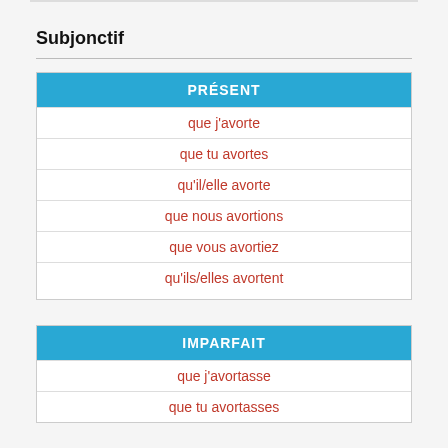Subjonctif
| PRÉSENT |
| --- |
| que j'avorte |
| que tu avortes |
| qu'il/elle avorte |
| que nous avortions |
| que vous avortiez |
| qu'ils/elles avortent |
| IMPARFAIT |
| --- |
| que j'avortasse |
| que tu avortasses |